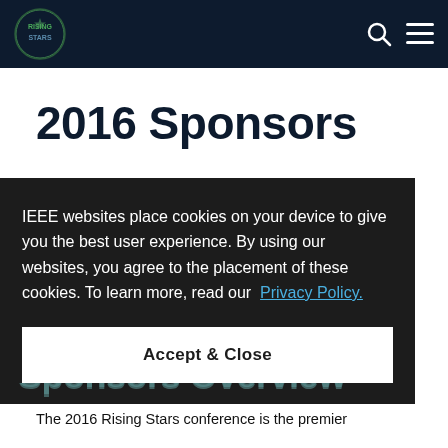Rising Stars — navigation bar with logo, search icon, and menu icon
2016 Sponsors
[Figure (screenshot): Dark background sponsor logos section with watermark-style logos from HP and other sponsors, partially obscured by cookie consent overlay]
IEEE websites place cookies on your device to give you the best user experience. By using our websites, you agree to the placement of these cookies. To learn more, read our Privacy Policy.
Accept & Close
Sponsors Overview
The 2016 Rising Stars conference is the premier